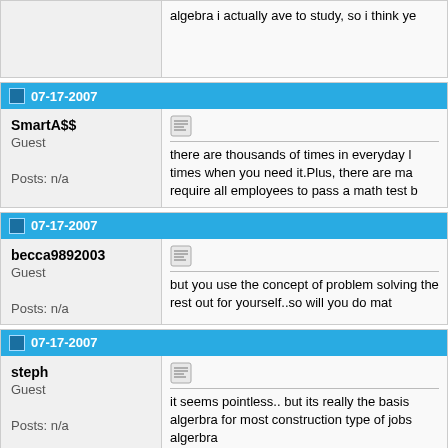algebra i actually ave to study, so i think ye
07-17-2007
SmartA$$
Guest
Posts: n/a
there are thousands of times in everyday l times when you need it.Plus, there are ma require all employees to pass a math test b
07-17-2007
becca9892003
Guest
Posts: n/a
but you use the concept of problem solving the rest out for yourself..so will you do mat
07-17-2007
steph
Guest
Posts: n/a
it seems pointless.. but its really the basis algerbra for most construction type of jobs algerbra